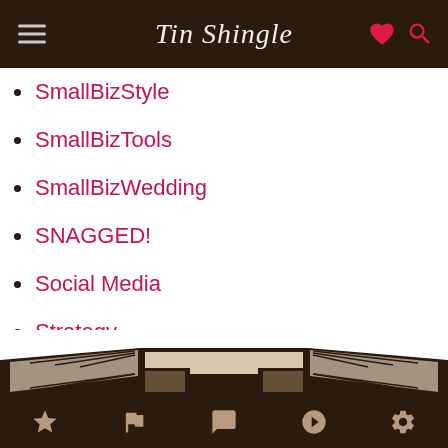Tin Shingle
SmallBizStyle
SmallBizTools
SmallBizWedding
SNAGGED!
Social Media
Strategy
TuneUps
Twitter
Website Design
What To Pitch This Month
[Figure (illustration): Decorative ribbon/banner illustration in brown tones at the bottom of the page]
Navigation bar with star, flag, chat, play, and settings icons